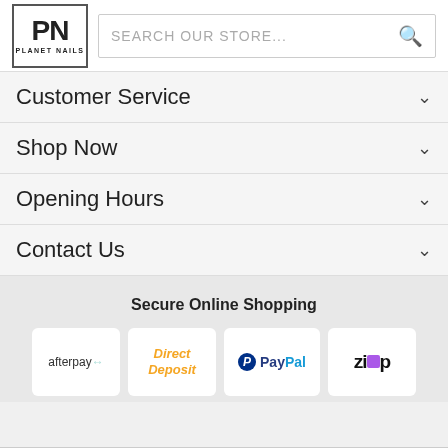[Figure (logo): Planet Nails logo - bold PN letters in a box with 'PLANET NAILS' text below]
SEARCH OUR STORE...
Customer Service
Shop Now
Opening Hours
Contact Us
Secure Online Shopping
[Figure (logo): Payment logos: afterpay, Direct Deposit, PayPal, Zip]